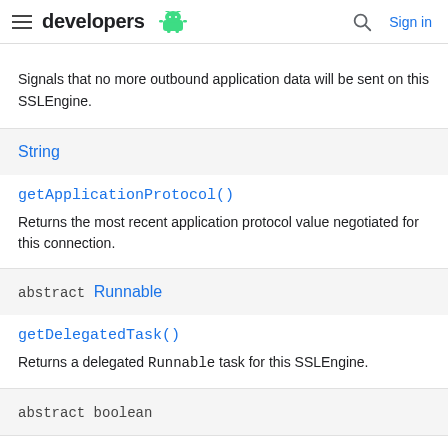developers [android logo] | [search] Sign in
Signals that no more outbound application data will be sent on this SSLEngine.
String
getApplicationProtocol()
Returns the most recent application protocol value negotiated for this connection.
abstract Runnable
getDelegatedTask()
Returns a delegated Runnable task for this SSLEngine.
abstract boolean